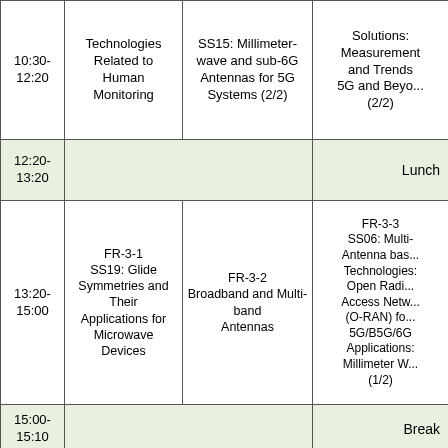| Time | Session A | Session B | Session C |
| --- | --- | --- | --- |
| 10:30-12:20 | Technologies Related to Human Monitoring | SS15: Millimeter-wave and sub-6G Antennas for 5G Systems (2/2) | Solutions: Measurement and Trends 5G and Beyond (2/2) |
| 12:20-13:20 | Lunch | Lunch | Lunch |
| 13:20-15:00 | FR-3-1
SS19: Glide Symmetries and Their Applications for Microwave Devices | FR-3-2
Broadband and Multi-band Antennas | FR-3-3
SS06: Multi-Antenna based Technologies: Open Radio Access Networks (O-RAN) for 5G/B5G/6G Applications: Millimeter Wave (1/2) |
| 15:00-15:10 | Break | Break | Break |
|  |  |  | FR-4-3 |